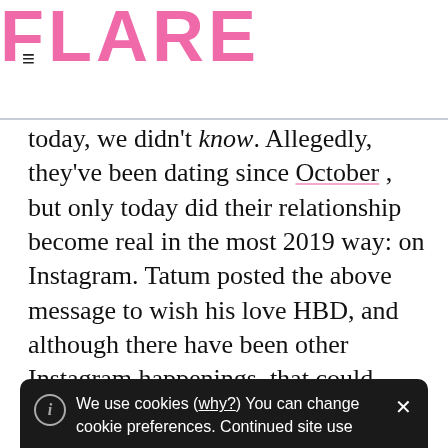FLARE
today, we didn't know. Allegedly, they've been dating since October , but only today did their relationship become real in the most 2019 way: on Instagram. Tatum posted the above message to wish his love HBD, and although there have been other Instagram happenings  that could have suggested these two were an item, this one definitely makes it official.
We use cookies (why?) You can change cookie preferences. Continued site use